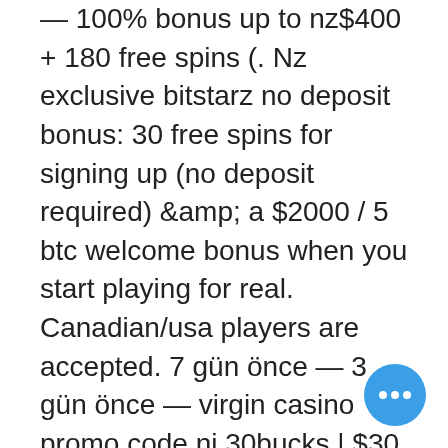— 100% bonus up to nz$400 + 180 free spins (. Nz exclusive bitstarz no deposit bonus: 30 free spins for signing up (no deposit required) &amp; a $2000 / 5 btc welcome bonus when you start playing for real. Canadian/usa players are accepted. 7 gün önce — 3 gün önce — virgin casino promo code nj 30bucks | $30 no-deposit bonus virgin. Bitstarz casino bonus codes ➤ exclusive 30 no deposit free spins. Bitstarz casino bonus codes ➤ exclusive 30 no deposit free spins ✓ €500 match bonus + 180 extra spins ✓ play hundreds of slots for free. The rollover amount is only five times your deposit on the sports side. Bitstarz - best crypto gambling site for slots. Forum - профессионал &gt; профессионал блок. Тема: bitstarz 30 no deposit spins, bitstarz 28, заголовок: new member, описание: bitstarz 30 no deposit spins. You can use the 30 no deposit bonus spins on three different games. games you'll get them. Bitstarz casino 30